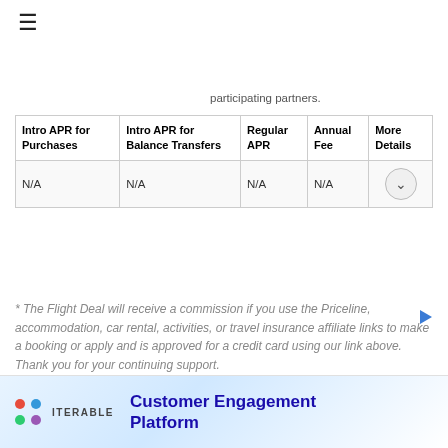☰
participating partners.
| Intro APR for Purchases | Intro APR for Balance Transfers | Regular APR | Annual Fee | More Details |
| --- | --- | --- | --- | --- |
| N/A | N/A | N/A | N/A | ▼ |
* The Flight Deal will receive a commission if you use the Priceline, accommodation, car rental, activities, or travel insurance affiliate links to make a booking or apply and is approved for a credit card using our link above. Thank you for your continuing support.
[Figure (logo): Iterable logo with colorful dots and company name, alongside Customer Engagement Platform advertisement text]